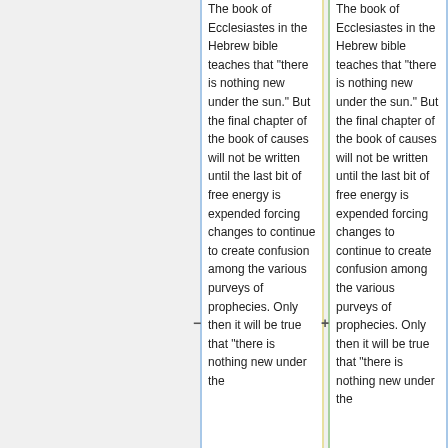The book of Ecclesiastes in the Hebrew bible teaches that "there is nothing new under the sun." But the final chapter of the book of causes will not be written until the last bit of free energy is expended forcing changes to continue to create confusion among the various purveys of prophecies. Only then it will be true that "there is nothing new under the sun."
The book of Ecclesiastes in the Hebrew bible teaches that "there is nothing new under the sun." But the final chapter of the book of causes will not be written until the last bit of free energy is expended forcing changes to continue to create confusion among the various purveys of prophecies. Only then it will be true that "there is nothing new under the sun."